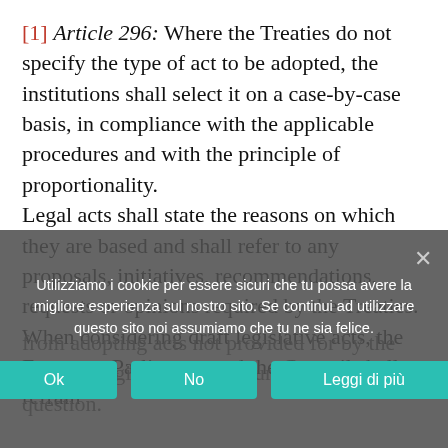[1] Article 296: Where the Treaties do not specify the type of act to be adopted, the institutions shall select it on a case-by-case basis, in compliance with the applicable procedures and with the principle of proportionality. Legal acts shall state the reasons on which they are based and shall refer to any proposals, initiatives, recommendations, requests or opinions required by the Treaties. When considering draft legislative acts, the European Parliament and the Council shall refrain from adopting acts not provided for by the relevant legislative procedure in the area in question.
Utilizziamo i cookie per essere sicuri che tu possa avere la migliore esperienza sul nostro sito. Se continui ad utilizzare questo sito noi assumiamo che tu ne sia felice.